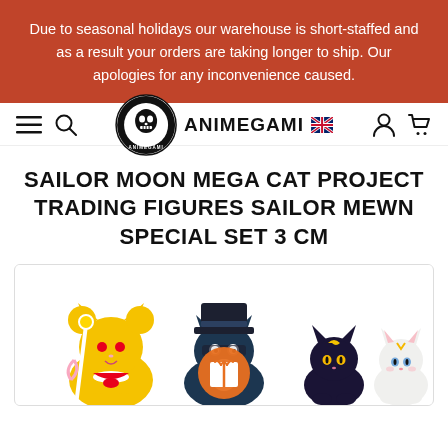Due to seasonal holidays our warehouse is short-staffed and as a result your orders are taking longer to ship. Our apologies for any inconvenience caused.
[Figure (logo): Animegami logo with circular skull-like emblem and text ANIMEGAMI with UK flag icon]
SAILOR MOON MEGA CAT PROJECT TRADING FIGURES SAILOR MEWN SPECIAL SET 3 CM
[Figure (photo): Sailor Moon Mega Cat Project trading figures showing cute cat versions of Sailor Moon characters in yellow, dark teal, and purple/dark, with a circular orange gift/present icon overlay]